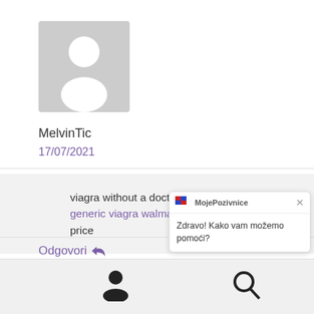[Figure (illustration): Gray placeholder avatar image with a person silhouette icon]
MelvinTic
17/07/2021
viagra without a doctor prescription usa generic viagra walmart – viagra 100mg price
Odgovori ↩
[Figure (screenshot): Bottom navigation bar with user icon and search icon]
MojePozivnice
Zdravo! Kako vam možemo pomoći?